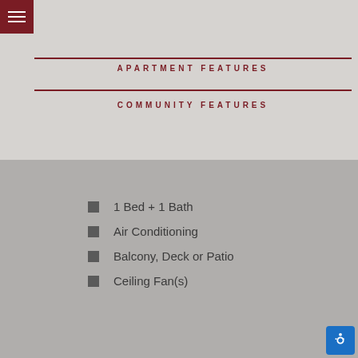Menu
APARTMENT FEATURES
COMMUNITY FEATURES
1 Bed + 1 Bath
Air Conditioning
Balcony, Deck or Patio
Ceiling Fan(s)